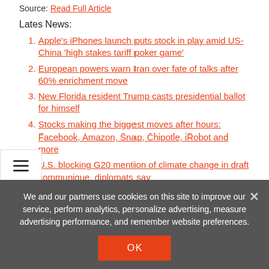Source: Read Full Article
Lates News:
Apple's iPhones launch puts stock in play amid US-China 'high stakes tariff poker game'
European powers warn Iran over fate of talks after 60% enrichment move
New Florida resident Trump casts presidential ballot for himself
Stocks making the biggest moves after hours: Facebook, Amazon, Snap, Chipotle, iRobot and more
U.S. blocking G20 mention of climate change in draft communique, diplomats say
We and our partners use cookies on this site to improve our service, perform analytics, personalize advertising, measure advertising performance, and remember website preferences.
Previous Post: Celsius Crisis and Rampant Inflation Prompts Extreme Fe...